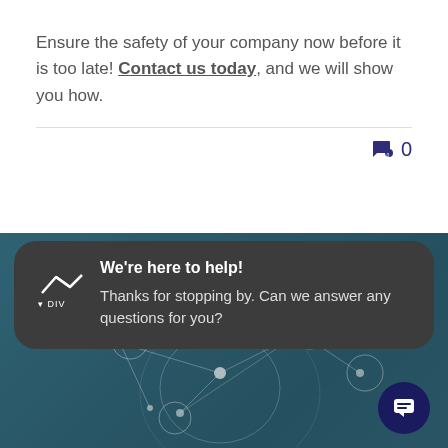Ensure the safety of your company now before it is too late! Contact us today, and we will show you how.
💬 0
[Figure (screenshot): A chat widget overlay on a technology/network background image. The overlay shows a dark rounded rectangle chat prompt with a logo, the heading 'We're here to help!' and text 'Thanks for stopping by. Can we answer any questions for you?' with a chat button icon in the bottom right.]